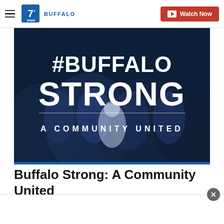≡ 7 WKBW BUFFALO   Watch Now
[Figure (photo): #BUFFALO STRONG - A COMMUNITY UNITED text overlay on dark blue background image showing crowd of people hugging]
Buffalo Strong: A Community United